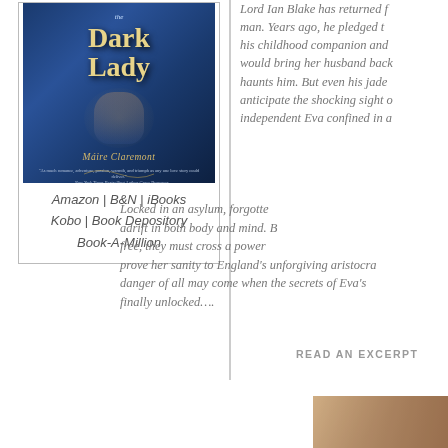[Figure (illustration): Book cover for 'The Dark Lady' by Máire Claremont. Dark blue ornate cover with a woman in period dress, decorative swirls, and a quote from a New York Times bestselling author Grace Burrowes.]
Amazon | B&N | iBooks
Kobo | Book Depository
Book-A-Million
Lord Ian Blake has returned from a broken man. Years ago, he pledged to his childhood companion and would bring her husband back haunts him. But even his jaded anticipate the shocking sight of independent Eva confined in a
Locked in an asylum, forgotten, adrift in both body and mind. But free, they must cross a powerful prove her sanity to England's unforgiving aristocracy danger of all may come when the secrets of Eva's finally unlocked….
READ AN EXCERPT
[Figure (photo): Partial book cover image visible at bottom right of page]